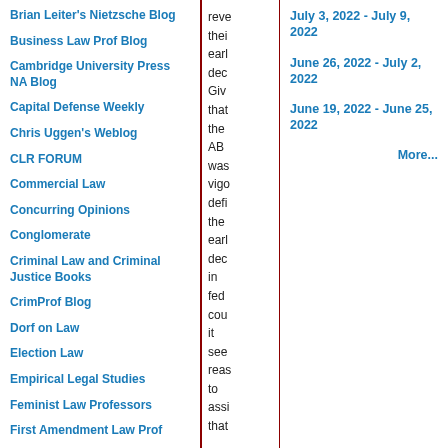Brian Leiter's Nietzsche Blog
Business Law Prof Blog
Cambridge University Press NA Blog
Capital Defense Weekly
Chris Uggen's Weblog
CLR FORUM
Commercial Law
Concurring Opinions
Conglomerate
Criminal Law and Criminal Justice Books
CrimProf Blog
Dorf on Law
Election Law
Empirical Legal Studies
Feminist Law Professors
First Amendment Law Prof
Gender & Sexuality Law Blog
reve... thei... earl... dec... Giv... that... the... AB... was... vigo... def... the... earl... dec... in... fed... cou... it... see... reas... to... ass... that...
July 3, 2022 - July 9, 2022
June 26, 2022 - July 2, 2022
June 19, 2022 - June 25, 2022
More...